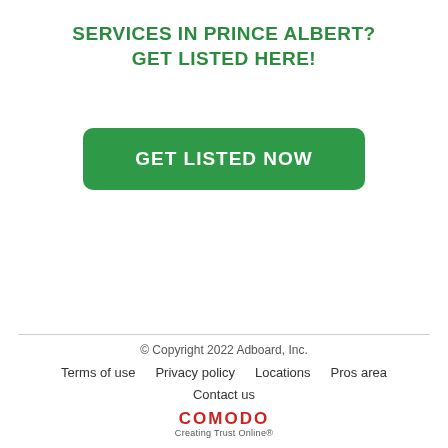SERVICES IN PRINCE ALBERT?
GET LISTED HERE!
[Figure (other): Green rounded rectangle button with white bold text reading GET LISTED NOW]
© Copyright 2022 Adboard, Inc.
Terms of use   Privacy policy   Locations   Pros area
Contact us
COMODO Creating Trust Online®